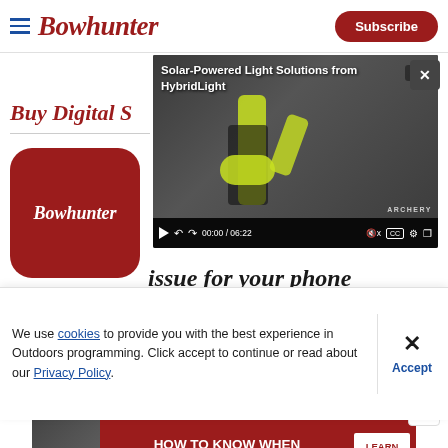Bowhunter — Subscribe
[Figure (screenshot): Video player overlay showing 'Solar-Powered Light Solutions from HybridLight' with video controls showing 00:00 / 06:22 and ARCHERY badge]
Buy Digital S…
[Figure (logo): Bowhunter app icon — red rounded square with white italic Bowhunter text]
issue for your phone
We use cookies to provide you with the best experience in Outdoors programming. Click accept to continue or read about our Privacy Policy.
Advertisement
[Figure (infographic): Red ad banner: HOW TO KNOW WHEN YOUR DOG IS OVERHEATED — LEARN MORE button]